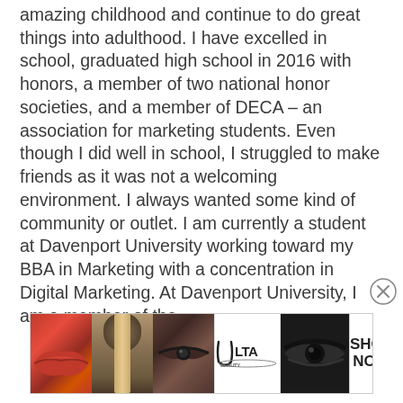amazing childhood and continue to do great things into adulthood. I have excelled in school, graduated high school in 2016 with honors, a member of two national honor societies, and a member of DECA – an association for marketing students. Even though I did well in school, I struggled to make friends as it was not a welcoming environment. I always wanted some kind of community or outlet. I am currently a student at Davenport University working toward my BBA in Marketing with a concentration in Digital Marketing. At Davenport University, I am a member of the
[Figure (photo): Ulta Beauty advertisement banner showing close-up images of lips with red lipstick, a makeup brush, an eye with makeup, the Ulta Beauty logo, another eye with dramatic makeup, and a 'SHOP NOW' call to action button.]